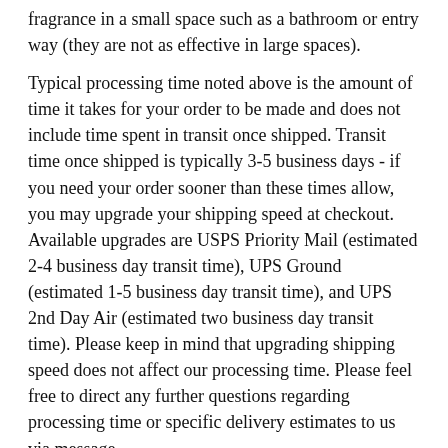fragrance in a small space such as a bathroom or entry way (they are not as effective in large spaces).
Typical processing time noted above is the amount of time it takes for your order to be made and does not include time spent in transit once shipped. Transit time once shipped is typically 3-5 business days - if you need your order sooner than these times allow, you may upgrade your shipping speed at checkout. Available upgrades are USPS Priority Mail (estimated 2-4 business day transit time), UPS Ground (estimated 1-5 business day transit time), and UPS 2nd Day Air (estimated two business day transit time). Please keep in mind that upgrading shipping speed does not affect our processing time. Please feel free to direct any further questions regarding processing time or specific delivery estimates to us via message.